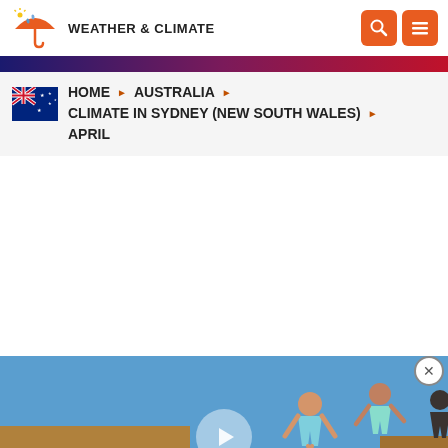WEATHER & CLIMATE
HOME ▶ AUSTRALIA ▶ CLIMATE IN SYDNEY (NEW SOUTH WALES) ▶ APRIL
[Figure (photo): Video thumbnail showing people jumping, with 'travels' text overlay and a play button. Part of an advertisement.]